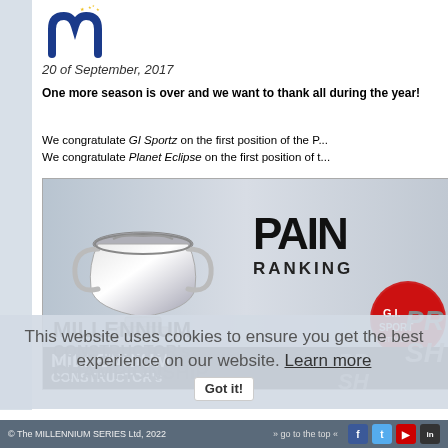[Figure (logo): Millennium Series logo - blue arch with yellow stars]
20 of September, 2017
One more season is over and we want to thank all during the year!
We congratulate GI Sportz on the first position of the P...
We congratulate Planet Eclipse on the first position of t...
[Figure (photo): Silver trophy cup with Paintball Ranking banner and Millennium Constructor's Championship text; GI Sportz and Pro Sharp logos visible]
This website uses cookies to ensure you get the best experience on our website. Learn more
Got it!
© The MILLENNIUM SERIES Ltd, 2022  » go to the top «